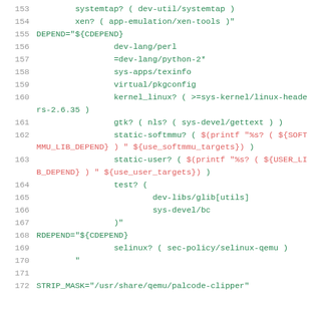Code listing lines 153-172, shell/ebuild syntax with line numbers
153   systemtap? ( dev-util/systemtap )
154   xen? ( app-emulation/xen-tools )"
155 DEPEND="${CDEPEND}
156   dev-lang/perl
157   =dev-lang/python-2*
158   sys-apps/texinfo
159   virtual/pkgconfig
160   kernel_linux? ( >=sys-kernel/linux-headers-2.6.35 )
161   gtk? ( nls? ( sys-devel/gettext ) )
162   static-softmmu? ( $(printf "%s? ( ${SOFTMMU_LIB_DEPEND} ) " ${use_softmmu_targets}) )
163   static-user? ( $(printf "%s? ( ${USER_LIB_DEPEND} ) " ${use_user_targets}) )
164   test? (
165     dev-libs/glib[utils]
166     sys-devel/bc
167   )"
168 RDEPEND="${CDEPEND}
169   selinux? ( sec-policy/selinux-qemu )
170 "
171
172 STRIP_MASK="/usr/share/qemu/palcode-clipper"